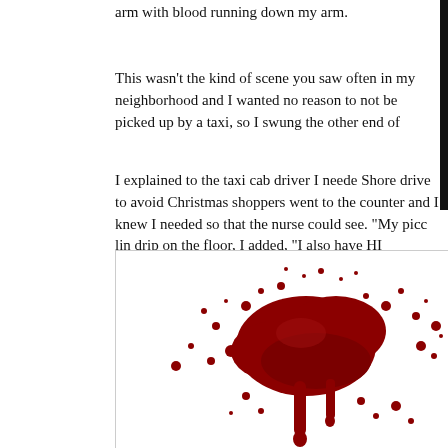arm with blood running down my arm.
This wasn't the kind of scene you saw often in my neighborhood and I wanted no reason to not be picked up by a taxi, so I swung the other end of
I explained to the taxi cab driver I neede Shore drive to avoid Christmas shoppers went to the counter and I knew I needed so that the nurse could see. "My picc lin drip on the floor, I added, "I also have HI
[Figure (photo): A dramatic blood splatter image showing dark red blood drops and streaks dripping downward against a white background.]